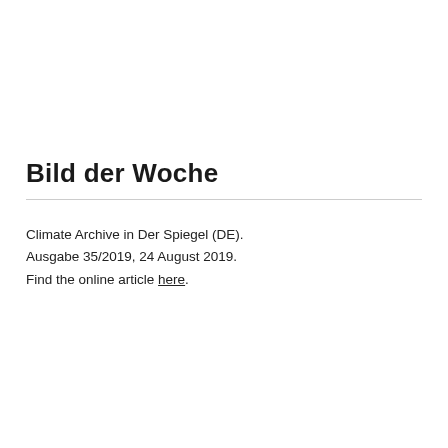Bild der Woche
Climate Archive in Der Spiegel (DE). Ausgabe 35/2019, 24 August 2019. Find the online article here.